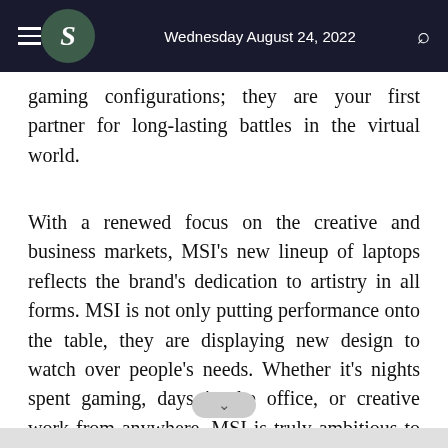Wednesday August 24, 2022
gaming configurations; they are your first partner for long-lasting battles in the virtual world.
With a renewed focus on the creative and business markets, MSI's new lineup of laptops reflects the brand's dedication to artistry in all forms. MSI is not only putting performance onto the table, they are displaying new design to watch over people's needs. Whether it's nights spent gaming, days in the office, or creative work from anywhere, MSI is truly ambitious to expand their territory to enhance